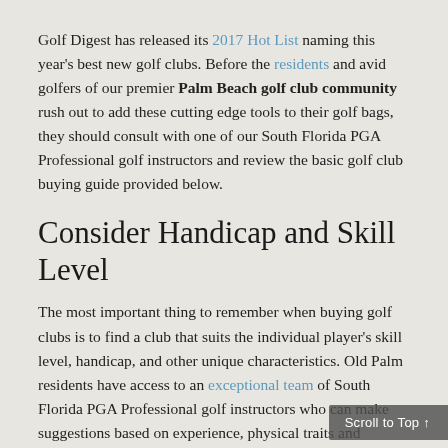Golf Digest has released its 2017 Hot List naming this year's best new golf clubs. Before the residents and avid golfers of our premier Palm Beach golf club community rush out to add these cutting edge tools to their golf bags, they should consult with one of our South Florida PGA Professional golf instructors and review the basic golf club buying guide provided below.
Consider Handicap and Skill Level
The most important thing to remember when buying golf clubs is to find a club that suits the individual player's skill level, handicap, and other unique characteristics. Old Palm residents have access to an exceptional team of South Florida PGA Professional golf instructors who can make suggestions based on experience, physical traits and playing styles. A player's unique playing characteristics